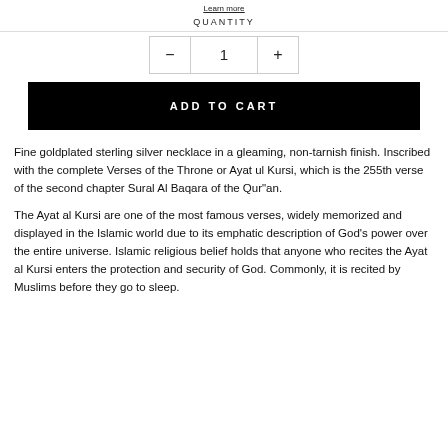Learn more
QUANTITY
1
ADD TO CART
Fine goldplated sterling silver necklace in a gleaming, non-tarnish finish. Inscribed with the complete Verses of the Throne or Ayat ul Kursi, which is the 255th verse of the second chapter Sural Al Baqara of the Qur"an.
The Ayat al Kursi are one of the most famous verses, widely memorized and displayed in the Islamic world due to its emphatic description of God's power over the entire universe. Islamic religious belief holds that anyone who recites the Ayat al Kursi enters the protection and security of God. Commonly, it is recited by Muslims before they go to sleep.